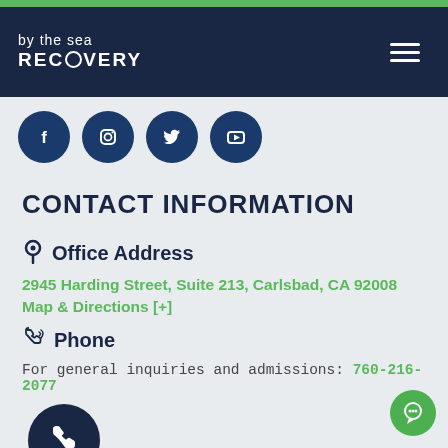by the sea RECOVERY
[Figure (other): Social media icons row: Facebook, Instagram, Twitter, YouTube - dark navy circular icons]
CONTACT INFORMATION
Office Address
2945 Harding Street, Suite 213, Carlsbad, CA 92008
Map & Directions [+]
Phone
For general inquiries and admissions: 760-216-2077
[Figure (other): Dark navy circular phone call button icon]
[Figure (other): Green circular chat button in bottom right corner]